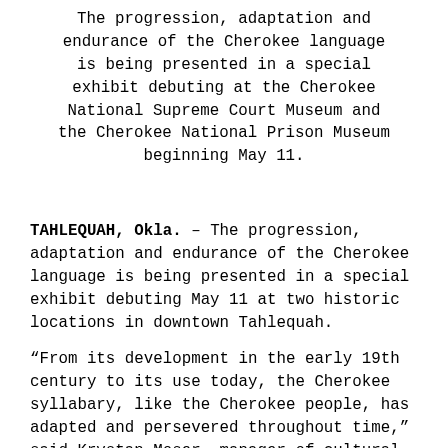The progression, adaptation and endurance of the Cherokee language is being presented in a special exhibit debuting at the Cherokee National Supreme Court Museum and the Cherokee National Prison Museum beginning May 11.
TAHLEQUAH, Okla. – The progression, adaptation and endurance of the Cherokee language is being presented in a special exhibit debuting May 11 at two historic locations in downtown Tahlequah.
“From its development in the early 19th century to its use today, the Cherokee syllabary, like the Cherokee people, has adapted and persevered throughout time,” said Krystan Moser, manager of cultural